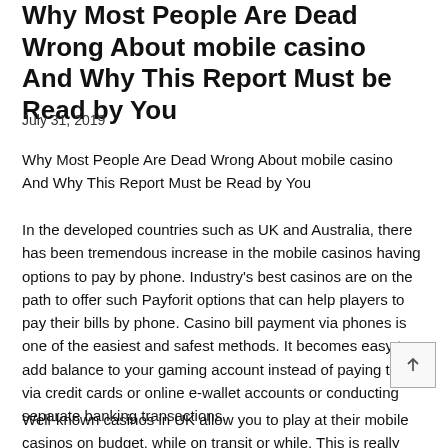Why Most People Are Dead Wrong About mobile casino And Why This Report Must be Read by You
July 31, 2019
Why Most People Are Dead Wrong About mobile casino And Why This Report Must be Read by You
In the developed countries such as UK and Australia, there has been tremendous increase in the mobile casinos having options to pay by phone. Industry's best casinos are on the path to offer such Payforit options that can help players to pay their bills by phone. Casino bill payment via phones is one of the easiest and safest methods. It becomes easy to add balance to your gaming account instead of paying them via credit cards or online e-wallet accounts or conducting separate banking transactions.
Well-known casinos in UK allow you to play at their mobile casinos on budget, while on transit or while. This is really